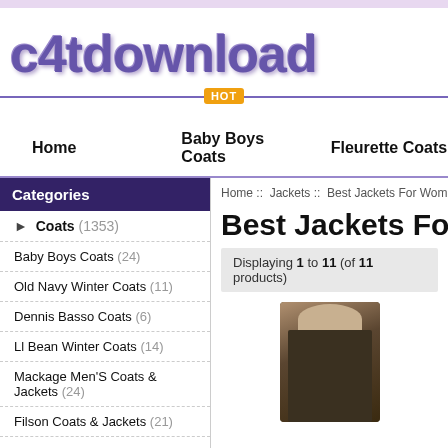[Figure (logo): c4tdownload website logo in large purple bold text]
Home   Baby Boys Coats   Fleurette Coats
Home :: Jackets :: Best Jackets For Women
Best Jackets For W
Displaying 1 to 11 (of 11 products)
Categories
Coats (1353)
Baby Boys Coats (24)
Old Navy Winter Coats (11)
Dennis Basso Coats (6)
Ll Bean Winter Coats (14)
Mackage Men'S Coats & Jackets (24)
Filson Coats & Jackets (21)
[Figure (photo): Dark olive/brown women's winter jacket with fur-lined hood collar]